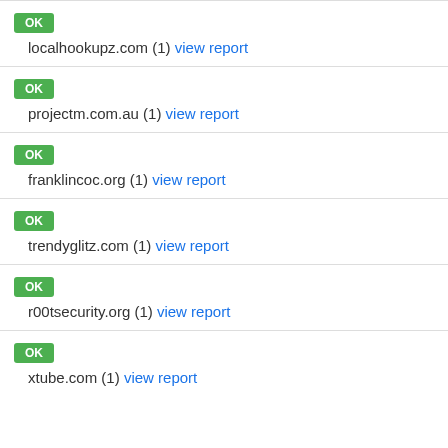OK localhookupz.com (1) view report
OK projectm.com.au (1) view report
OK franklincoc.org (1) view report
OK trendyglitz.com (1) view report
OK r00tsecurity.org (1) view report
OK xtube.com (1) view report